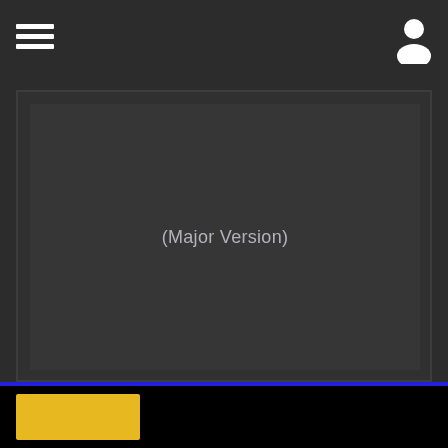[Figure (screenshot): Dark UI screenshot with hamburger menu icon on top left, user profile icon on top right, a large dark gray panel with inner dark panel containing centered text '(Major Version)', a blue horizontal bar near the bottom, and a black bottom bar with a yellow button.]
(Major Version)